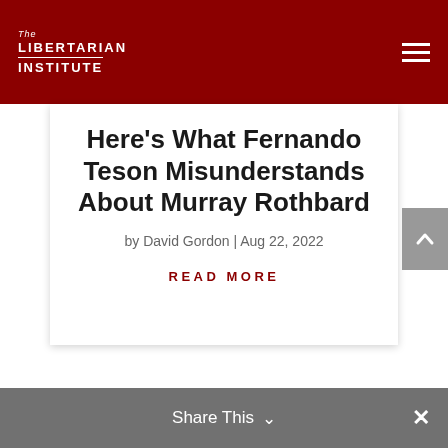The Libertarian Institute
Here's What Fernando Teson Misunderstands About Murray Rothbard
by David Gordon | Aug 22, 2022
READ MORE
Share This